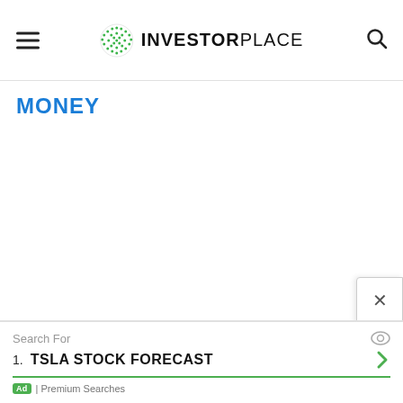INVESTORPLACE
MONEY
[Figure (screenshot): InvestorPlace website screenshot showing header with hamburger menu, InvestorPlace logo with green globe icon, and search icon. Below header is a MONEY section label. An advertisement banner at the bottom shows 'Search For' with result '1. TSLA STOCK FORECAST' and a close button popup on the right side.]